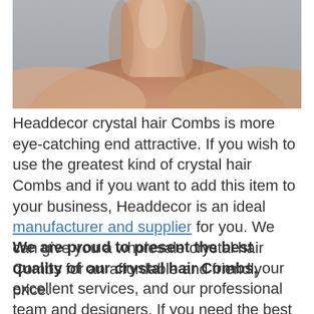[Figure (photo): Close-up photo of a person's bare neck and upper back/shoulders from behind, soft neutral skin tones against a light grey background.]
Headdecor crystal hair Combs is more eye-catching end attractive. If you wish to use the greatest kind of crystal hair Combs and if you want to add this item to your business, Headdecor is an ideal manufacturer and supplier for you. We can give you a wholesale crystal hair Combs for an affordable and friendly price.
We are proud to present the best quality of our crystal hair Combs, our excellent services, and our professional team and designers. If you need the best manufacturer for your crystal hair